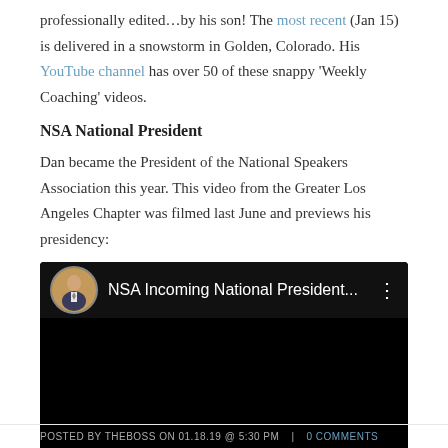professionally edited…by his son! The most recent (Jan 15) is delivered in a snowstorm in Golden, Colorado. His YouTube channel has over 50 of these snappy 'Weekly Coaching' videos.
NSA National President
Dan became the President of the National Speakers Association this year. This video from the Greater Los Angeles Chapter was filmed last June and previews his presidency:
[Figure (screenshot): YouTube video embed showing 'NSA Incoming National President...' with a circular avatar of a man in a suit on a dark/black background video player]
POSTED BY THEBOSS ON 01.18.19 @ 5:30 PM  |  0 COMMENTS